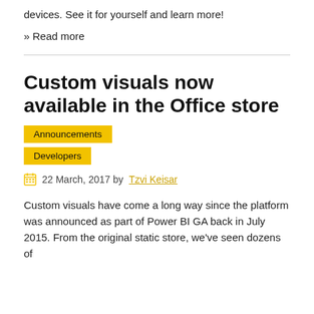devices. See it for yourself and learn more!
» Read more
Custom visuals now available in the Office store
Announcements
Developers
22 March, 2017 by Tzvi Keisar
Custom visuals have come a long way since the platform was announced as part of Power BI GA back in July 2015. From the original static store, we've seen dozens of